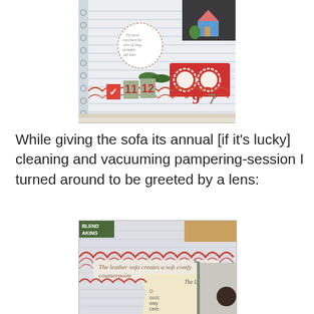[Figure (photo): A scrapbook page photographed from above, showing lined notebook paper with decorative embellishments, calendar numbers (9, 7, 11, 12), a red card with two donut/scallop circle frames, a house illustration, green shoes, and a circular text element. The scrapbook rests on a light surface.]
While giving the sofa its annual [if it's lucky] cleaning and vacuuming pampering-session I turned around to be greeted by a lens:
[Figure (photo): Close-up photo of a scrapbook page showing decorative scalloped arch border in red/brown, text reading 'The leather sofa creates a soft comfy counterpoint', a torn book page with 'The Line of Fate' visible, partial text including 'succ', 'way', 'care', 'han', '6) l', 'It n', and a person with dark hair visible in the background through a doorway. A green sign with 'AKING' text is visible at top left.]